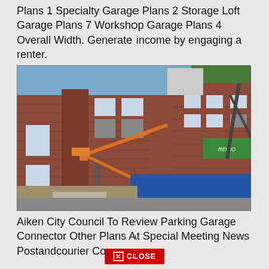Plans 1 Specialty Garage Plans 2 Storage Loft Garage Plans 7 Workshop Garage Plans 4 Overall Width. Generate income by engaging a renter.
[Figure (photo): Construction site showing a brick building under renovation with an orange boom lift crane and a green crane on the right side, debris on the ground and blue barriers, trees visible in background]
Aiken City Council To Review Parking Garage Connector Other Plans At Special Meeting News Postandcourier Com